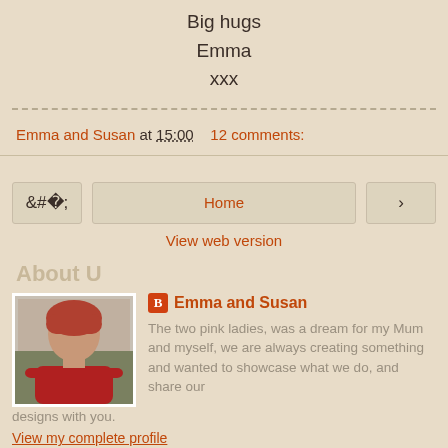Big hugs
Emma
xxx
Emma and Susan at 15:00   12 comments:
< Home > View web version
About U
[Figure (photo): Photo of a woman with red hair wearing a red top, sitting on a couch]
Emma and Susan
The two pink ladies, was a dream for my Mum and myself, we are always creating something and wanted to showcase what we do, and share our designs with you.
View my complete profile